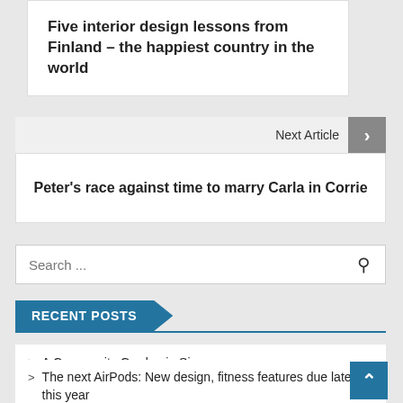Five interior design lessons from Finland – the happiest country in the world
Next Article
Peter's race against time to marry Carla in Corrie
Search ...
RECENT POSTS
A Community Garden in Singapore
The next AirPods: New design, fitness features due later this year